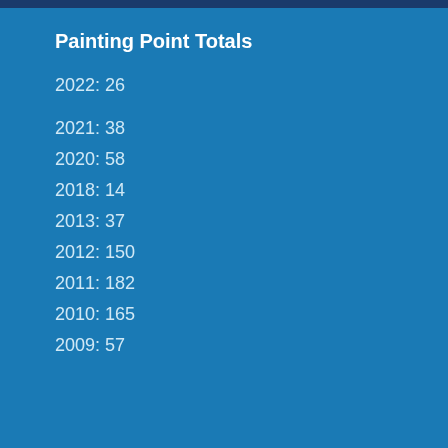Painting Point Totals
2022: 26
2021: 38
2020: 58
2018: 14
2013: 37
2012: 150
2011: 182
2010: 165
2009: 57